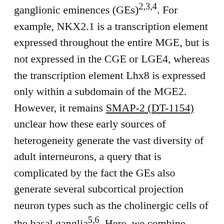ganglionic eminences (GEs)2,3,4. For example, NKX2.1 is a transcription element expressed throughout the entire MGE, but is not expressed in the CGE or LGE4, whereas the transcription element Lhx8 is expressed only within a subdomain of the MGE2. However, it remains SMAP-2 (DT-1154) unclear how these early sources of heterogeneity generate the vast diversity of adult interneurons, a query that is complicated by the fact the GEs also generate several subcortical projection neuron types such as the cholinergic cells of the basal ganglia5,6. Here, we combine multiple solitary cell RNA-sequencing methods (scRNA-seq) with genetic fate mapping techniques to explore the emergence of cellular heterogeneity during early mouse development. Within mitotic SMAP-2 (DT-1154) progenitors, we found a highly conserved maturation trajectory, accompanied by eminence-specific transcription element expression that